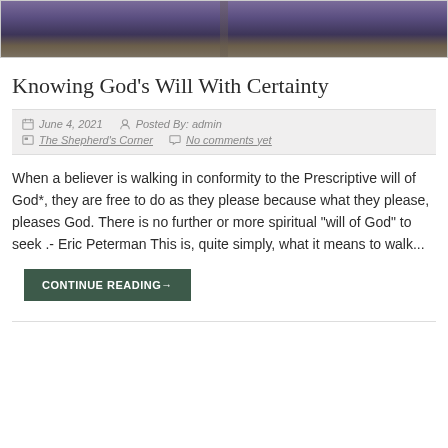[Figure (photo): Header image showing a landscape with purple/dark tones, appears to be fields or terrain, with a vertical dividing line in the center.]
Knowing God’s Will With Certainty
June 4, 2021   Posted By: admin   The Shepherd’s Corner   No comments yet
When a believer is walking in conformity to the Prescriptive will of God*, they are free to do as they please because what they please, pleases God. There is no further or more spiritual “will of God” to seek .- Eric Peterman This is, quite simply, what it means to walk...
CONTINUE READING→